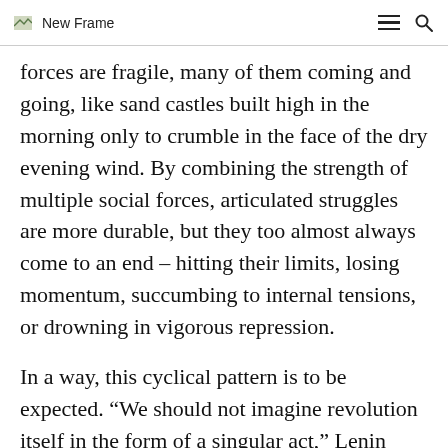New Frame
forces are fragile, many of them coming and going, like sand castles built high in the morning only to crumble in the face of the dry evening wind. By combining the strength of multiple social forces, articulated struggles are more durable, but they too almost always come to an end – hitting their limits, losing momentum, succumbing to internal tensions, or drowning in vigorous repression.

In a way, this cyclical pattern is to be expected. "We should not imagine revolution itself in the form of a singular act," Lenin once wrote. "The